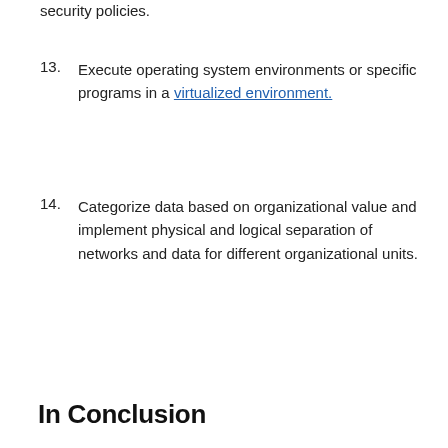security policies.
13. Execute operating system environments or specific programs in a virtualized environment.
14. Categorize data based on organizational value and implement physical and logical separation of networks and data for different organizational units.
In Conclusion